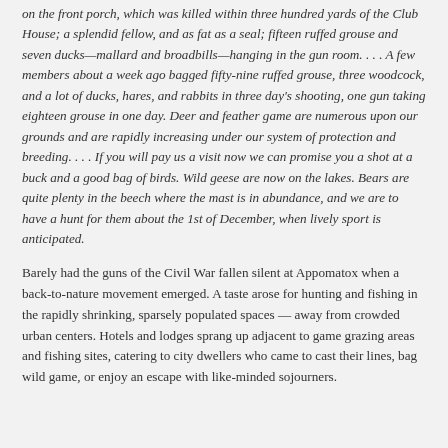on the front porch, which was killed within three hundred yards of the Club House; a splendid fellow, and as fat as a seal; fifteen ruffed grouse and seven ducks—mallard and broadbills—hanging in the gun room. . . . A few members about a week ago bagged fifty-nine ruffed grouse, three woodcock, and a lot of ducks, hares, and rabbits in three day's shooting, one gun taking eighteen grouse in one day. Deer and feather game are numerous upon our grounds and are rapidly increasing under our system of protection and breeding. . . . If you will pay us a visit now we can promise you a shot at a buck and a good bag of birds. Wild geese are now on the lakes. Bears are quite plenty in the beech where the mast is in abundance, and we are to have a hunt for them about the 1st of December, when lively sport is anticipated.
Barely had the guns of the Civil War fallen silent at Appomatox when a back-to-nature movement emerged. A taste arose for hunting and fishing in the rapidly shrinking, sparsely populated spaces — away from crowded urban centers. Hotels and lodges sprang up adjacent to game grazing areas and fishing sites, catering to city dwellers who came to cast their lines, bag wild game, or enjoy an escape with like-minded sojourners.